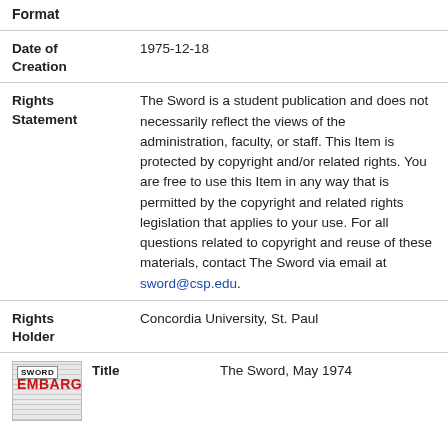Format
Date of Creation: 1975-12-18
Rights Statement: The Sword is a student publication and does not necessarily reflect the views of the administration, faculty, or staff. This Item is protected by copyright and/or related rights. You are free to use this Item in any way that is permitted by the copyright and related rights legislation that applies to your use. For all questions related to copyright and reuse of these materials, contact The Sword via email at sword@csp.edu.
Rights Holder: Concordia University, St. Paul
Title: The Sword, May 1974